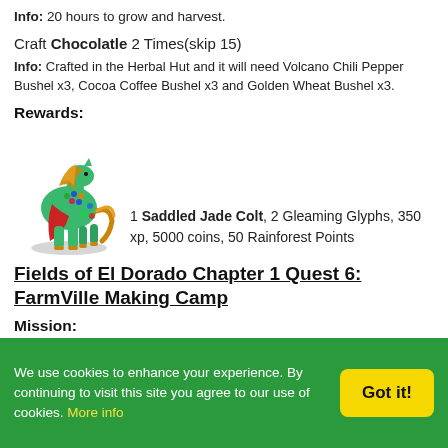Info: 20 hours to grow and harvest.
Craft Chocolatle 2 Times(skip 15)
Info: Crafted in the Herbal Hut and it will need Volcano Chili Pepper Bushel x3, Cocoa Coffee Bushel x3 and Golden Wheat Bushel x3.
Rewards:
[Figure (illustration): A decorated green horse/colt with colorful accessories including red cape and beaded decorations — the Saddled Jade Colt reward item.]
1 Saddled Jade Colt, 2 Gleaming Glyphs, 350 xp, 5000 coins, 50 Rainforest Points
Fields of El Dorado Chapter 1 Quest 6: FarmVille Making Camp
Mission:
We use cookies to enhance your experience. By continuing to visit this site you agree to our use of cookies. More info